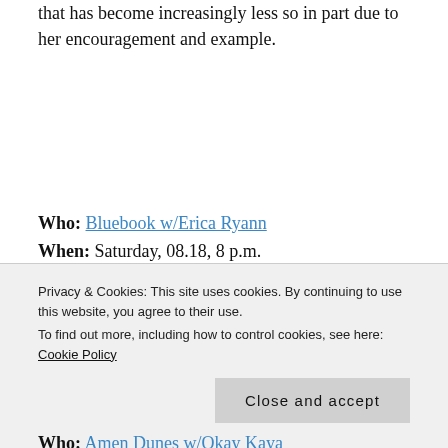that has become increasingly less so in part due to her encouragement and example.
Who: Bluebook w/Erica Ryann
When: Saturday, 08.18, 8 p.m.
Where: Aurora Fox
Why: There are pretty much never any shows in Aurora of this kind going on. Experimental folk/downtempo
Privacy & Cookies: This site uses cookies. By continuing to use this website, you agree to their use. To find out more, including how to control cookies, see here: Cookie Policy
Who: Amen Dunes w/Okay Kaya